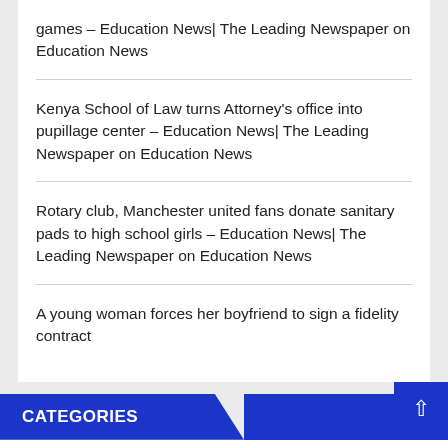games – Education News| The Leading Newspaper on Education News
Kenya School of Law turns Attorney's office into pupillage center – Education News| The Leading Newspaper on Education News
Rotary club, Manchester united fans donate sanitary pads to high school girls – Education News| The Leading Newspaper on Education News
A young woman forces her boyfriend to sign a fidelity contract
CATEGORIES
boxing